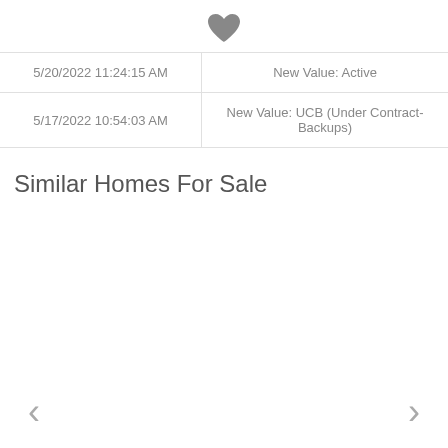[Figure (illustration): Gray filled heart icon centered at top of page]
| 5/20/2022 11:24:15 AM | New Value: Active |
| 5/17/2022 10:54:03 AM | New Value: UCB (Under Contract-Backups) |
Similar Homes For Sale